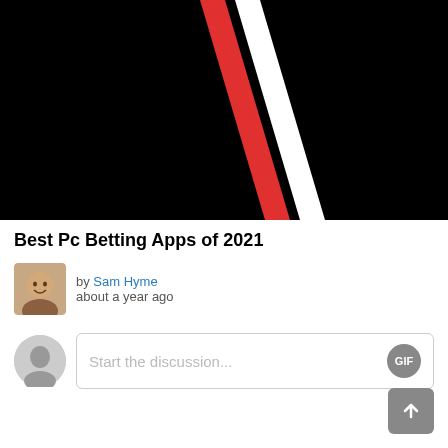[Figure (illustration): Black background with a diagonal red stripe and a diagonal white stripe running from lower-left to upper-right]
Best Pc Betting Apps of 2021
by Sam Hyme
about a year ago
Start the discussion...